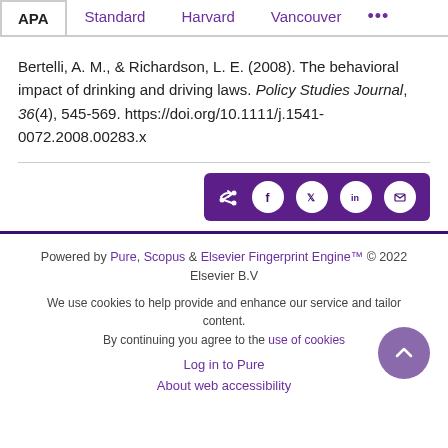APA | Standard | Harvard | Vancouver | ...
Bertelli, A. M., & Richardson, L. E. (2008). The behavioral impact of drinking and driving laws. Policy Studies Journal, 36(4), 545-569. https://doi.org/10.1111/j.1541-0072.2008.00283.x
[Figure (other): Share bar with social icons: share, Facebook, Twitter, LinkedIn, email]
Powered by Pure, Scopus & Elsevier Fingerprint Engine™ © 2022 Elsevier B.V
We use cookies to help provide and enhance our service and tailor content. By continuing you agree to the use of cookies
Log in to Pure
About web accessibility